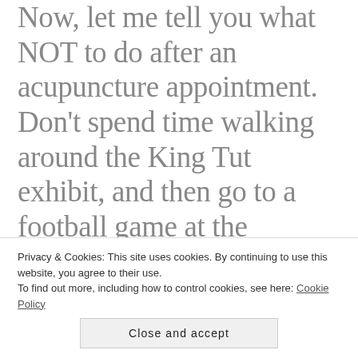Now, let me tell you what NOT to do after an acupuncture appointment. Don't spend time walking around the King Tut exhibit, and then go to a football game at the Coliseum in Los Angeles. Don't get lost looking for your seats and climb a formidable flight of stairs. Don't find out that there are no elevators in the Coliseum and have to climb DOWN the same flight of stairs. For the rest of the weekend my son and daughter-in-law walked me everywhere, because I was back to hobbling again.
Privacy & Cookies: This site uses cookies. By continuing to use this website, you agree to their use.
To find out more, including how to control cookies, see here: Cookie Policy
Close and accept